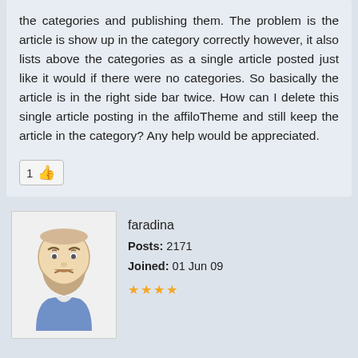the categories and publishing them. The problem is the article is show up in the category correctly however, it also lists above the categories as a single article posted just like it would if there were no categories. So basically the article is in the right side bar twice. How can I delete this single article posting in the affiloTheme and still keep the article in the category? Any help would be appreciated.
[Figure (illustration): Like button with count 1 and thumbs up emoji]
[Figure (illustration): User avatar showing a cartoon figure with beard wearing blue shirt]
faradina
Posts: 2171
Joined: 01 Jun 09